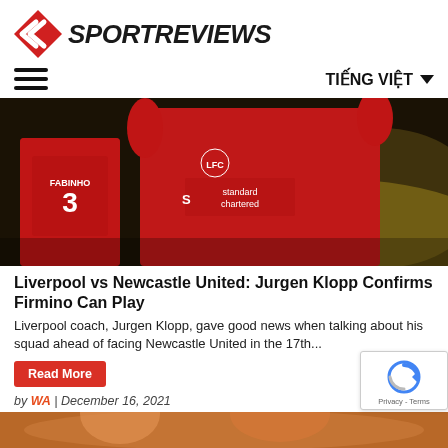[Figure (logo): SportReviews logo with red diamond/arrow icon and italic bold text SPORTREVIEWS]
TIẾNG VIỆT ▼
[Figure (photo): Liverpool football players in red jerseys. Fabinho wearing number 3 jersey visible in left, another player with Standard Chartered sponsor jersey arms raised in celebration.]
Liverpool vs Newcastle United: Jurgen Klopp Confirms Firmino Can Play
Liverpool coach, Jurgen Klopp, gave good news when talking about his squad ahead of facing Newcastle United in the 17th...
Read More
by WA | December 16, 2021
[Figure (photo): Bottom partial photo strip showing another article image]